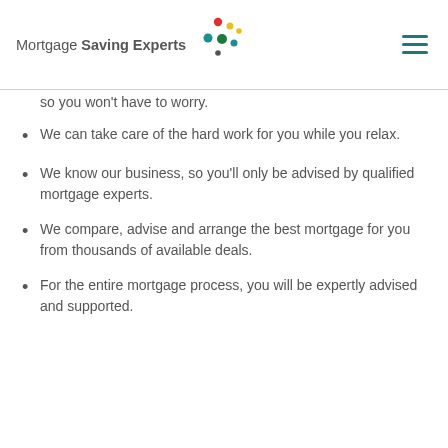Mortgage Saving Experts
so you won't have to worry.
We can take care of the hard work for you while you relax.
We know our business, so you'll only be advised by qualified mortgage experts.
We compare, advise and arrange the best mortgage for you from thousands of available deals.
For the entire mortgage process, you will be expertly advised and supported.